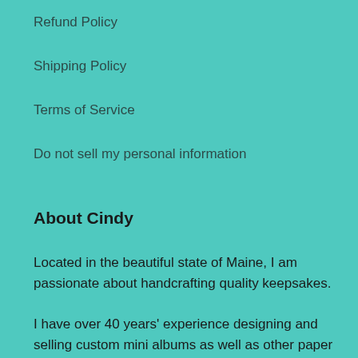Refund Policy
Shipping Policy
Terms of Service
Do not sell my personal information
About Cindy
Located in the beautiful state of Maine, I am passionate about handcrafting quality keepsakes.
I have over 40 years' experience designing and selling custom mini albums as well as other paper products such as handmade books, junk